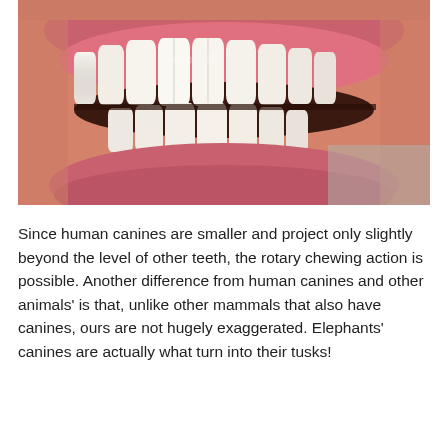[Figure (photo): Close-up photograph of a human mouth showing upper and lower teeth (smile), with visible gums and lips, macro dental photo]
Since human canines are smaller and project only slightly beyond the level of other teeth, the rotary chewing action is possible. Another difference from human canines and other animals' is that, unlike other mammals that also have canines, ours are not hugely exaggerated. Elephants' canines are actually what turn into their tusks!